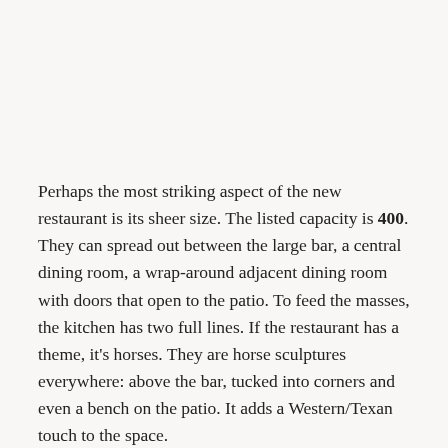Perhaps the most striking aspect of the new restaurant is its sheer size. The listed capacity is 400. They can spread out between the large bar, a central dining room, a wrap-around adjacent dining room with doors that open to the patio. To feed the masses, the kitchen has two full lines. If the restaurant has a theme, it's horses. They are horse sculptures everywhere: above the bar, tucked into corners and even a bench on the patio. It adds a Western/Texan touch to the space.
For thoughts about the food, three local bloggers have